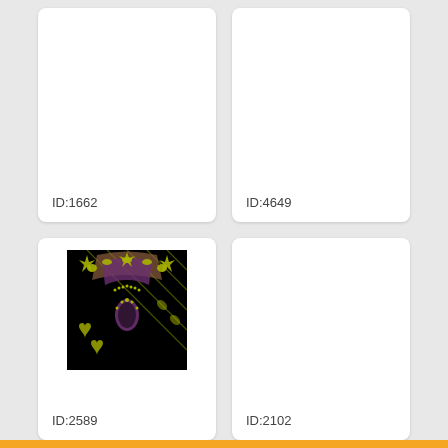[Figure (photo): Card showing embroidery design, mostly blank/white]
ID:1662
[Figure (photo): Card showing embroidery design, mostly blank/white]
ID:4649
[Figure (photo): Card showing embroidery neckline design on black background with green and purple floral/leaf patterns]
ID:2589
[Figure (photo): Card showing embroidery design, mostly blank/white]
ID:2102